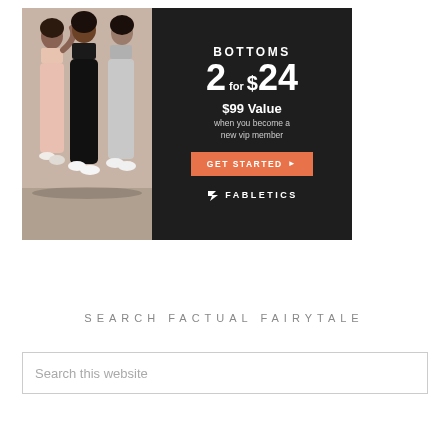[Figure (illustration): Fabletics advertisement banner showing three women wearing athletic bottoms (joggers/sweatpants) in black, grey, and light pink. Dark background with text: BOTTOMS 2 for $24, $99 Value when you become a new vip member. Orange CTA button: GET STARTED. Fabletics logo at bottom.]
SEARCH FACTUAL FAIRYTALE
Search this website